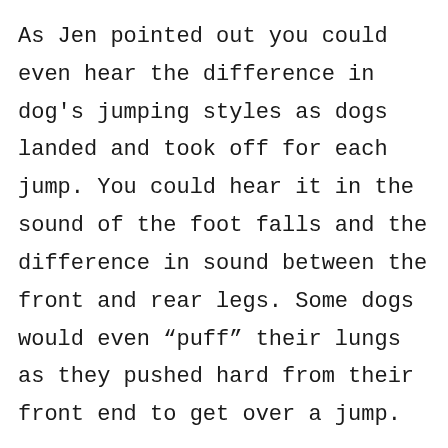As Jen pointed out you could even hear the difference in dog's jumping styles as dogs landed and took off for each jump. You could hear it in the sound of the foot falls and the difference in sound between the front and rear legs. Some dogs would even “puff” their lungs as they pushed hard from their front end to get over a jump.

In each segment, after covering the setup of the training grid and the analysis of the dog’s performance, Jen would setup a scope drill to test how the dog has progressed. In practice a